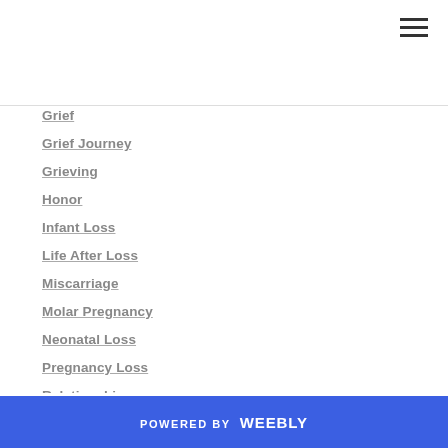Grief
Grief Journey
Grieving
Honor
Infant Loss
Life After Loss
Miscarriage
Molar Pregnancy
Neonatal Loss
Pregnancy Loss
Relationships
Remembrance
Remembrance Tree
Second Trimester Loss
SIDS
POWERED BY weebly